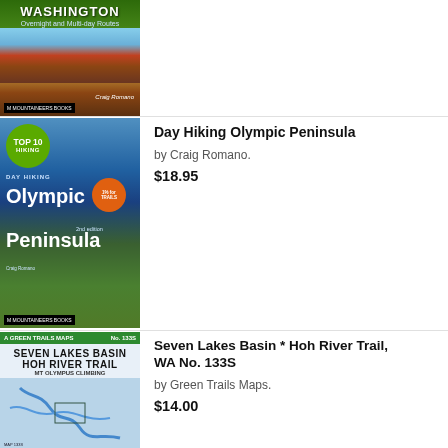[Figure (photo): Book cover for a Washington hiking book by Craig Romano, Mountaineers Books]
[Figure (photo): Book cover for Day Hiking Olympic Peninsula 2nd edition by Craig Romano, Mountaineers Books, with TOP 10 HIKING green badge]
Day Hiking Olympic Peninsula
by Craig Romano.
$18.95
[Figure (photo): Map cover for Seven Lakes Basin * Hoh River Trail, WA No. 133S by Green Trails Maps, showing trail map with blue river lines]
Seven Lakes Basin * Hoh River Trail, WA No. 133S
by Green Trails Maps.
$14.00